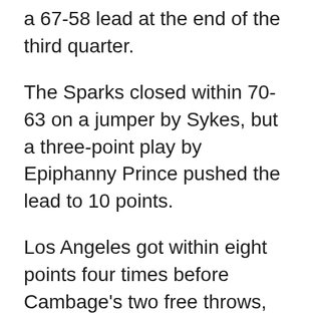a 67-58 lead at the end of the third quarter.
The Sparks closed within 70-63 on a jumper by Sykes, but a three-point play by Epiphanny Prince pushed the lead to 10 points.
Los Angeles got within eight points four times before Cambage's two free throws, Sykes' steal and layup and Cambage's put-back cut the deficit to 79-77 with 1:35 left.
After an exchange of baskets, Bird made two free throws to give the Storm a four-point lead with 45.5 seconds left.